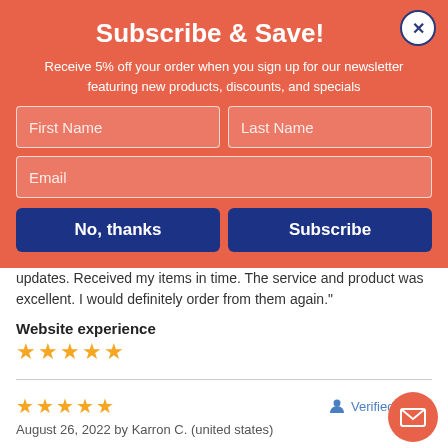Subscribe & Save!
Receive 5% off your order when you sign up for our newsletter featuring new products, discounts, and specials
First Name | Last Name | Email (form fields)
No, thanks | Subscribe (buttons)
updates. Received my items in time. The service and product was excellent. I would definitely order from them again."
Website experience
★★★★★
★★★★★  Verified Buyer
August 26, 2022 by Karron C. (united states)